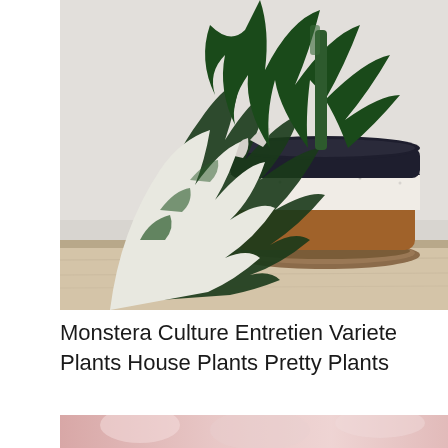[Figure (photo): A variegated Monstera plant with white and green leaves in a round ceramic pot with black top, white speckled middle, and terracotta brown bottom, placed on a wooden saucer on a light wood shelf against a white/grey background.]
Monstera Culture Entretien Variete Plants House Plants Pretty Plants
[Figure (photo): Partial view of a pink-toned image, cropped at page bottom.]